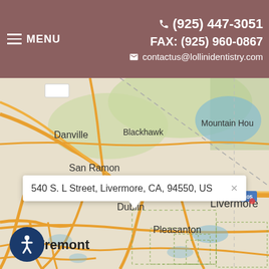☎ (925) 447-3051  FAX: (925) 960-0867  ✉ contactus@lollinidentistry.com
≡ MENU
[Figure (map): Google Maps view showing Livermore, CA area with Dublin, Pleasanton, Fremont, San Ramon, Danville, Blackhawk, and Mountain House visible. Highway 580 and 205 shown.]
540 S. L Street, Livermore, CA, 94550, US